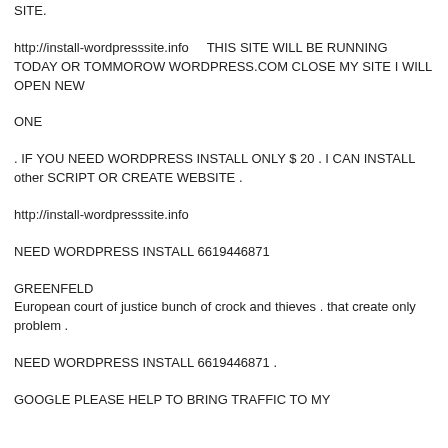SITE.
http://install-wordpresssite.info    THIS SITE WILL BE RUNNING TODAY OR TOMMOROW WORDPRESS.COM CLOSE MY SITE I WILL OPEN NEW
ONE
. IF YOU NEED WORDPRESS INSTALL ONLY $ 20 . I CAN INSTALL other SCRIPT OR CREATE WEBSITE .
http://install-wordpresssite.info
NEED WORDPRESS INSTALL 6619446871
GREENFELD
European court of justice bunch of crock and thieves . that create only problem .
NEED WORDPRESS INSTALL 6619446871 .
GOOGLE PLEASE HELP TO BRING TRAFFIC TO MY